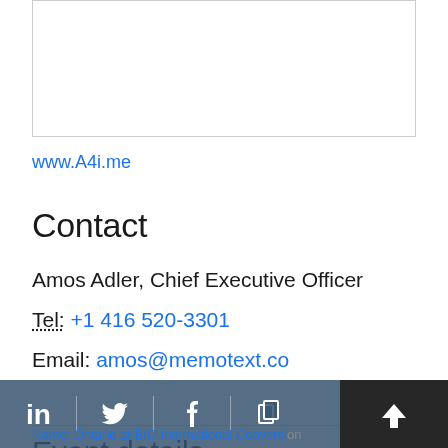[Figure (other): Partial box/image area at top of page, content cut off]
www.A4i.me
Contact
Amos Adler, Chief Executive Officer
Tel: +1 416 520-3301
Email: amos@memotext.co
Event details
Name: Ontario at BIO International Convention